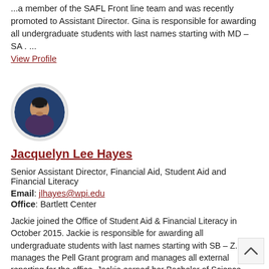...a member of the SAFL Front line team and was recently promoted to Assistant Director. Gina is responsible for awarding all undergraduate students with last names starting with MD – SA . ...
View Profile
[Figure (photo): Circular profile photo of Jacquelyn Lee Hayes, a woman with glasses and dark hair, against a blue background.]
Jacquelyn Lee Hayes
Senior Assistant Director, Financial Aid, Student Aid and Financial Literacy
Email: jlhayes@wpi.edu
Office: Bartlett Center
Jackie joined the Office of Student Aid & Financial Literacy in October 2015. Jackie is responsible for awarding all undergraduate students with last names starting with SB – Z. She manages the Pell Grant program and manages all external reporting for the office. Jackie earned her Bachelor of Science degree in business administration from Stonehill College. Prior to WPI, she worked in the human resources field for twelve years View Profile